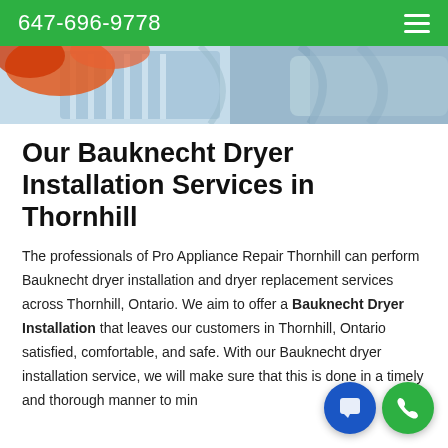647-696-9778
[Figure (photo): Close-up of colorful folded laundry including blue striped shirts and towels, orange and red fabric items.]
Our Bauknecht Dryer Installation Services in Thornhill
The professionals of Pro Appliance Repair Thornhill can perform Bauknecht dryer installation and dryer replacement services across Thornhill, Ontario. We aim to offer a Bauknecht Dryer Installation that leaves our customers in Thornhill, Ontario satisfied, comfortable, and safe. With our Bauknecht dryer installation service, we will make sure that this is done in a timely and thorough manner to min...